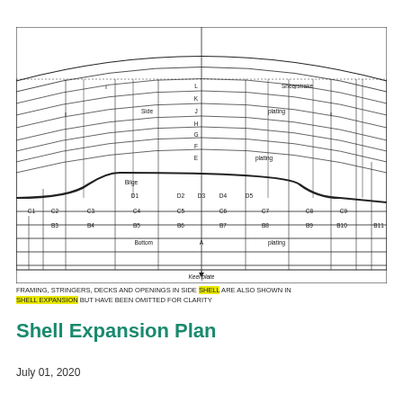[Figure (engineering-diagram): Shell expansion plan diagram showing ship hull plate nomenclature. The diagram displays a cross-sectional shell expansion with labeled strakes: L (Sheerstrake), K, J (Side plating), H, G, F, E (plating), Bilge, D1-D5, C1-C9, B3-B11, A (Bottom plating), with a Keel plate at the center bottom. Vertical lines divide the hull into sections. A curved bilge line separates the side and bottom plating.]
FRAMING, STRINGERS, DECKS AND OPENINGS IN SIDE SHELL ARE ALSO SHOWN IN SHELL EXPANSION BUT HAVE BEEN OMITTED FOR CLARITY
Shell Expansion Plan
July 01, 2020